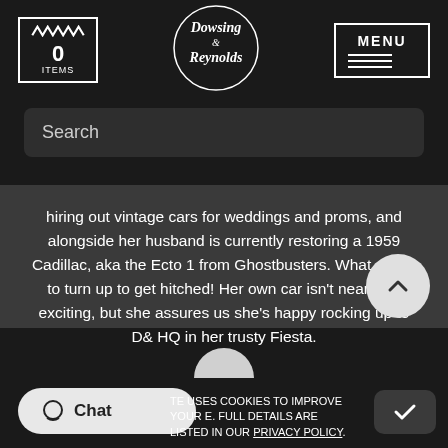[Figure (logo): Dowsing & Reynolds circular logo with script text on dark background]
0 ITEMS
MENU
Search
hiring out vintage cars for weddings and proms, and alongside her husband is currently restoring a 1959 Cadillac, aka the Ecto 1 from Ghostbusters. What a way to turn up to get hitched! Her own car isn't nearly as exciting, but she assures us she's happy rocking up to D& HQ in her trusty Fiesta.
Chat
TE USES COOKIES TO IMPROVE YOUR E. FULL DETAILS ARE LISTED IN OUR PRIVACY POLICY.